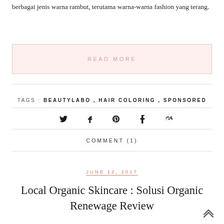berbagai jenis warna rambut, terutama warna-warna fashion yang terang.
READ MORE
TAGS: BEAUTYLABO, HAIR COLORING, SPONSORED
[Figure (other): Social media share icons: Twitter, Facebook, Pinterest, Tumblr, Google+]
COMMENT (1)
JUNE 12, 2017
Local Organic Skincare : Solusi Organic Renewage Review